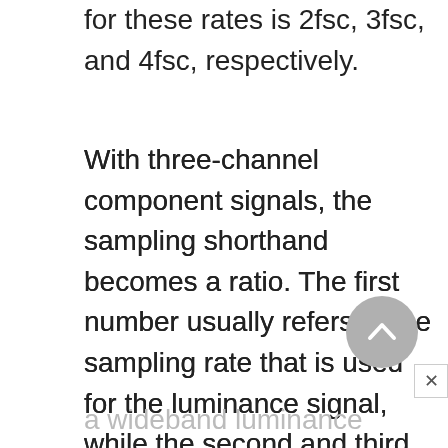for these rates is 2fsc, 3fsc, and 4fsc, respectively.
With three-channel component signals, the sampling shorthand becomes a ratio. The first number usually refers to the sampling rate that is used for the luminance signal, while the second and third numbers refer to the rates for the red and blue color-difference signals, respectively. Thus a 14:7:7 system would be one in which
a wideband luminance signal is